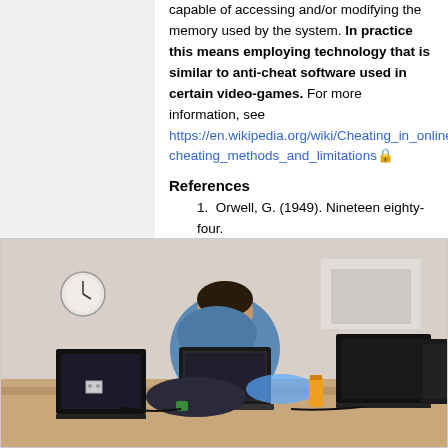capable of accessing and/or modifying the memory used by the system. In practice this means employing technology that is similar to anti-cheat software used in certain video-games. For more information, see https://en.wikipedia.org/wiki/Cheating_in_online_g cheating_methods_and_limitations 🔒
References
1. Orwell, G. (1949). Nineteen eighty-four. London: Secker and Warburg.
Prototype
[Figure (photo): A person sitting at a desk working on a laptop, surrounded by multiple laptops and equipment in an office or lab setting.]